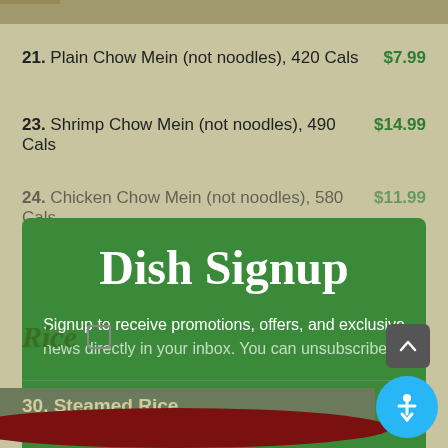[Figure (screenshot): Top strip showing partial food image]
21. Plain Chow Mein (not noodles), 420 Cals   $7.99
23. Shrimp Chow Mein (not noodles), 490 Cals   $14.99
24. Chicken Chow Mein (not noodles), 580 Cals   $11.99
[Figure (screenshot): Green modal overlay with 'Dish Signup' title and text: Signup to receive promotions, offers, and exclusive news directly in your inbox. You can unsubscribe at]
Rice
30. Steamed Rice
[Figure (screenshot): Red oval decorative element and blue accessibility button at bottom right]